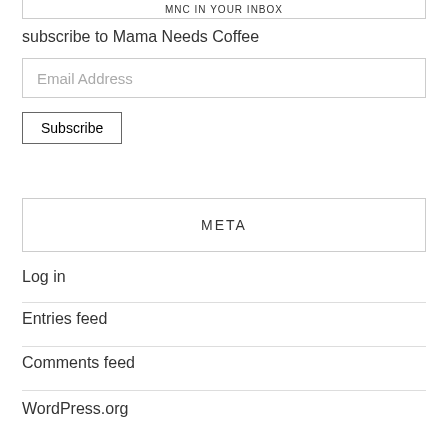MNC IN YOUR INBOX
subscribe to Mama Needs Coffee
Email Address
Subscribe
META
Log in
Entries feed
Comments feed
WordPress.org